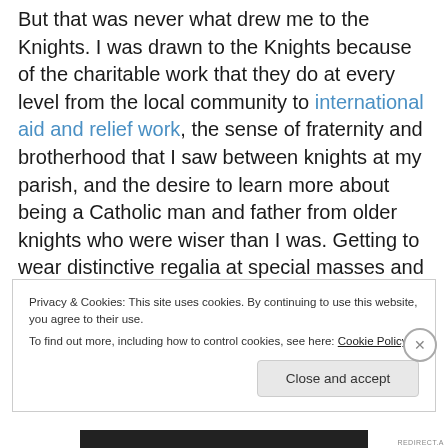But that was never what drew me to the Knights. I was drawn to the Knights because of the charitable work that they do at every level from the local community to international aid and relief work, the sense of fraternity and brotherhood that I saw between knights at my parish, and the desire to learn more about being a Catholic man and father from older knights who were wiser than I was. Getting to wear distinctive regalia at special masses and parades a few times a year (and to cook blueberry pancakes once a month for my fellow parishioners) were just a couple of the extra perks.
Privacy & Cookies: This site uses cookies. By continuing to use this website, you agree to their use. To find out more, including how to control cookies, see here: Cookie Policy